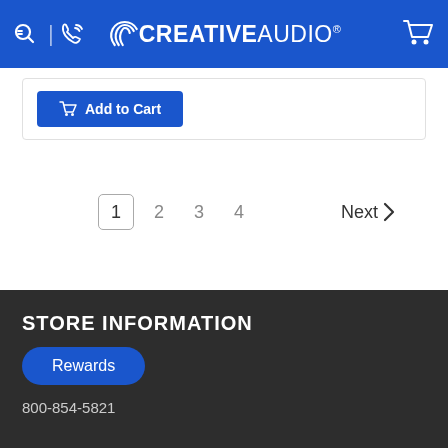Creative Audio — navigation header with search, phone, cart icons and logo
[Figure (screenshot): Add to Cart button inside a product card area]
1  2  3  4    Next >
STORE INFORMATION
Rewards
800-854-5821